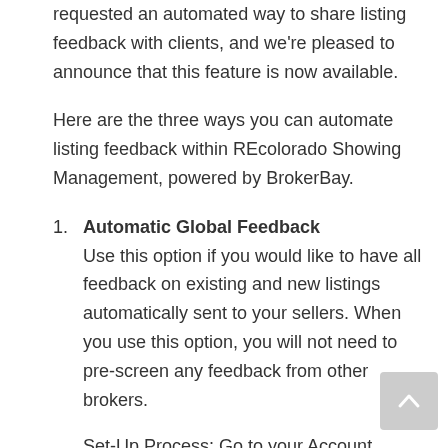requested an automated way to share listing feedback with clients, and we're pleased to announce that this feature is now available.
Here are the three ways you can automate listing feedback within REcolorado Showing Management, powered by BrokerBay.
Automatic Global Feedback Use this option if you would like to have all feedback on existing and new listings automatically sent to your sellers. When you use this option, you will not need to pre-screen any feedback from other brokers.
Set-Up Process: Go to your Account Settings in the top right of your screen, click on Listing Settings, and then, under